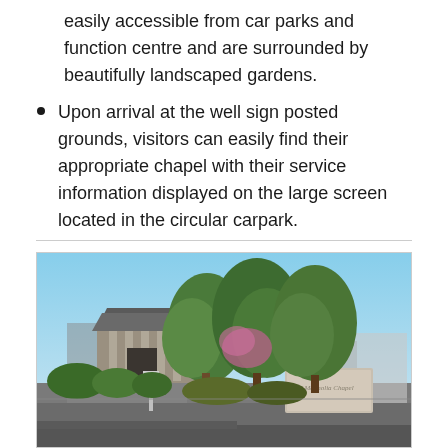easily accessible from car parks and function centre and are surrounded by beautifully landscaped gardens.
Upon arrival at the well sign posted grounds, visitors can easily find their appropriate chapel with their service information displayed on the large screen located in the circular carpark.
[Figure (photo): Exterior photo of Magnolia Chapel showing a building entrance with columns and a covered portico, surrounded by lush green and flowering trees, with a stone sign reading 'Magnolia Chapel' in the foreground right, under a blue sky.]